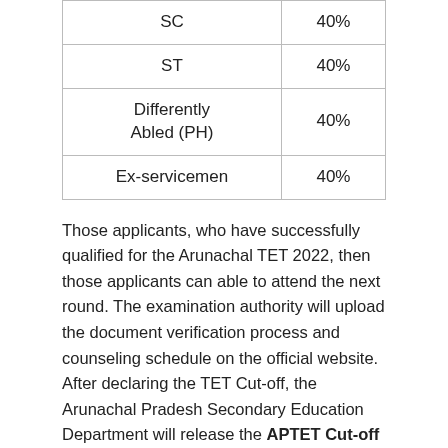| Category | Percentage |
| --- | --- |
| SC | 40% |
| ST | 40% |
| Differently Abled (PH) | 40% |
| Ex-servicemen | 40% |
Those applicants, who have successfully qualified for the Arunachal TET 2022, then those applicants can able to attend the next round. The examination authority will upload the document verification process and counseling schedule on the official website. After declaring the TET Cut-off, the Arunachal Pradesh Secondary Education Department will release the APTET Cut-off